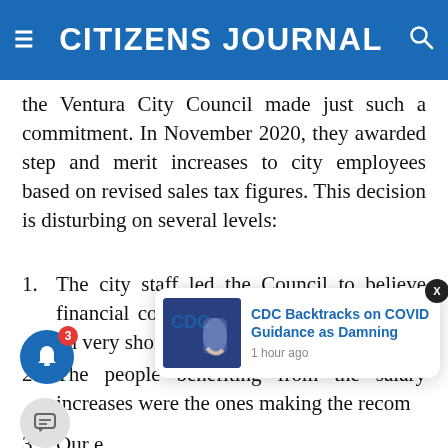CITIZENS JOURNAL
the Ventura City Council made just such a commitment. In November 2020, they awarded step and merit increases to city employees based on revised sales tax figures. This decision is disturbing on several levels:
The city staff led the Council to believe financial conditions were improving based on very short-term statistics.
The people benefiting from the salary increases were the ones making the recommendations.
Our economic advisor disputed the rosy picture the staff presented during the pandemic economic…